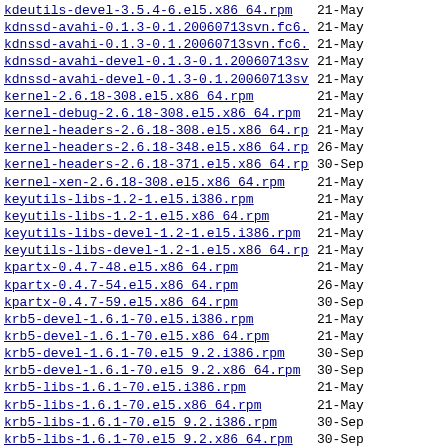kdeutils-devel-3.5.4-6.el5.x86_64.rpm   21-May
kdnssd-avahi-0.1.3-0.1.20060713svn.fc6.i386.rpm   21-May
kdnssd-avahi-0.1.3-0.1.20060713svn.fc6.x86_64.rpm   21-May
kdnssd-avahi-devel-0.1.3-0.1.20060713svn.fc6.i3..>   21-May
kdnssd-avahi-devel-0.1.3-0.1.20060713svn.fc6.x8..>   21-May
kernel-2.6.18-308.el5.x86_64.rpm   21-May
kernel-debug-2.6.18-308.el5.x86_64.rpm   21-May
kernel-headers-2.6.18-308.el5.x86_64.rpm   21-May
kernel-headers-2.6.18-348.el5.x86_64.rpm   26-May
kernel-headers-2.6.18-371.el5.x86_64.rpm   30-Sep
kernel-xen-2.6.18-308.el5.x86_64.rpm   21-May
keyutils-libs-1.2-1.el5.i386.rpm   21-May
keyutils-libs-1.2-1.el5.x86_64.rpm   21-May
keyutils-libs-devel-1.2-1.el5.i386.rpm   21-May
keyutils-libs-devel-1.2-1.el5.x86_64.rpm   21-May
kpartx-0.4.7-48.el5.x86_64.rpm   21-May
kpartx-0.4.7-54.el5.x86_64.rpm   26-May
kpartx-0.4.7-59.el5.x86_64.rpm   30-Sep
krb5-devel-1.6.1-70.el5.i386.rpm   21-May
krb5-devel-1.6.1-70.el5.x86_64.rpm   21-May
krb5-devel-1.6.1-70.el5_9.2.i386.rpm   30-Sep
krb5-devel-1.6.1-70.el5_9.2.x86_64.rpm   30-Sep
krb5-libs-1.6.1-70.el5.i386.rpm   21-May
krb5-libs-1.6.1-70.el5.x86_64.rpm   21-May
krb5-libs-1.6.1-70.el5_9.2.i386.rpm   30-Sep
krb5-libs-1.6.1-70.el5_9.2.x86_64.rpm   30-Sep
krb5-workstation-1.6.1-70.el5_9.2.x86_64.rpm   30-Sep
lam-7.1.2-14.el5.i386.rpm   21-May
lam-7.1.2-14.el5.x86_64.rpm   21-May
lam-devel-7.1.2-14.el5.i386.rpm   21-May